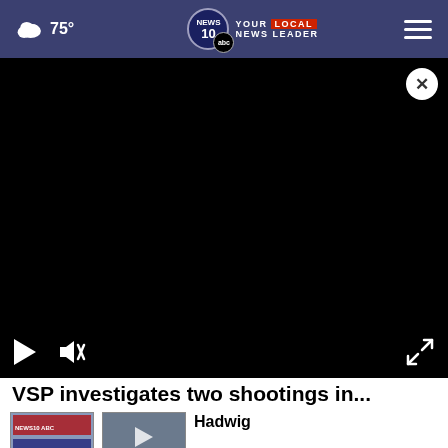75° — News10 Your Local News Leader
[Figure (screenshot): Black video player area with play button, mute button, and expand icon controls at the bottom. A close (X) button appears in the top-right corner.]
VSP investigates two shootings in...
[Figure (photo): Small thumbnail image with a news ticker overlay]
Hadwig